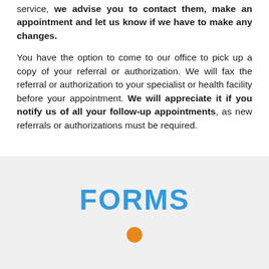service, we advise you to contact them, make an appointment and let us know if we have to make any changes.
You have the option to come to our office to pick up a copy of your referral or authorization. We will fax the referral or authorization to your specialist or health facility before your appointment. We will appreciate it if you notify us of all your follow-up appointments, as new referrals or authorizations must be required.
FORMS